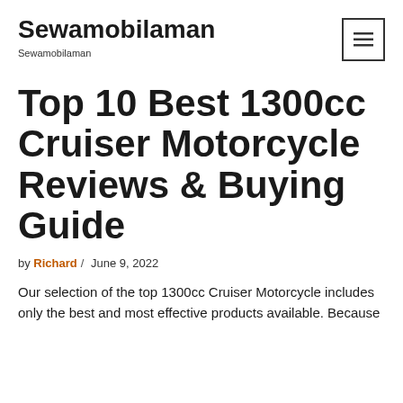Sewamobilaman
Sewamobilaman
Top 10 Best 1300cc Cruiser Motorcycle Reviews & Buying Guide
by Richard / June 9, 2022
Our selection of the top 1300cc Cruiser Motorcycle includes only the best and most effective products available. Because